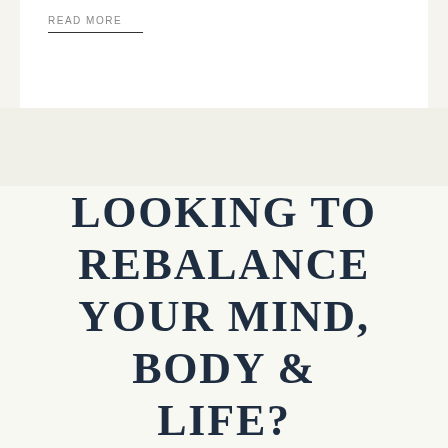READ MORE
LOOKING TO REBALANCE YOUR MIND, BODY & LIFE?